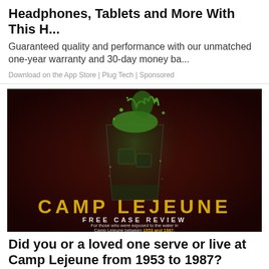Headphones, Tablets and More With This H...
Guaranteed quality and performance with our unmatched one-year warranty and 30-day money ba...
Download on the App Store | Plug Tech | Sponsored
[Figure (photo): Dark background advertisement image for Camp Lejeune Free Case Review. Shows a glass with green liquid being poured into it. Large gold/yellow bold text reads 'CAMP LEJEUNE' and below it 'FREE CASE REVIEW'. Bottom text: 'For those who were exposed to the water in Camp Lejeune between 1953 and 1987.']
Did you or a loved one serve or live at Camp Lejeune from 1953 to 1987?
TorhoysAttorneys | Sponsored